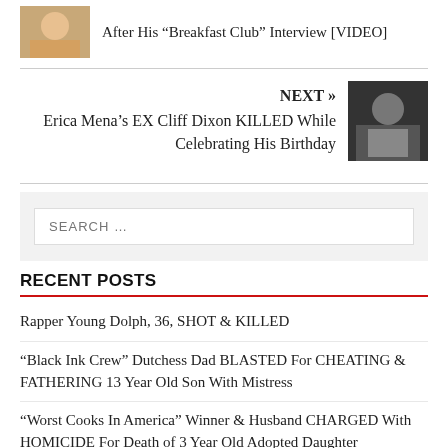[Figure (photo): Thumbnail image of a person smiling]
After His “Breakfast Club” Interview [VIDEO]
NEXT »
Erica Mena’s EX Cliff Dixon KILLED While Celebrating His Birthday
[Figure (photo): Thumbnail image for next article]
SEARCH …
RECENT POSTS
Rapper Young Dolph, 36, SHOT & KILLED
“Black Ink Crew” Dutchess Dad BLASTED For CHEATING & FATHERING 13 Year Old Son With Mistress
“Worst Cooks In America” Winner & Husband CHARGED With HOMICIDE For Death of 3 Year Old Adopted Daughter